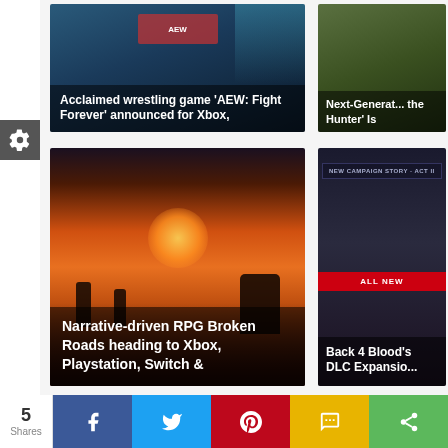[Figure (screenshot): Gaming news website screenshot showing article cards with game images and headlines. Top-left card: 'Acclaimed wrestling game AEW: Fight Forever announced for Xbox,' with a dark blue game promo image. Top-right card: 'Next-Generation the Hunter Is' with a dark green game image. Bottom-left card: 'Narrative-driven RPG Broken Roads heading to Xbox, Playstation, Switch &' with a warm sunset post-apocalyptic scene. Bottom-right card: 'Back 4 Blood's DLC Expansion' with a dark campaign story image. A settings gear icon appears on the left sidebar. A social share bar at the bottom shows 5 Shares with Facebook, Twitter, Pinterest, SMS, and generic share buttons.]